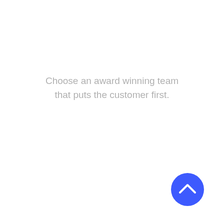Choose an award winning team that puts the customer first.
[Figure (other): A blue circular button with a white upward-pointing chevron arrow icon, positioned in the bottom-right area of the page.]